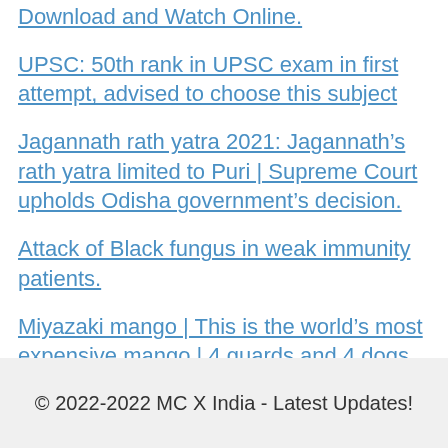Download and Watch Online.
UPSC: 50th rank in UPSC exam in first attempt, advised to choose this subject
Jagannath rath yatra 2021: Jagannath’s rath yatra limited to Puri | Supreme Court upholds Odisha government’s decision.
Attack of Black fungus in weak immunity patients.
Miyazaki mango | This is the world’s most expensive mango | 4 guards and 4 dogs have been kept for this mango to monitor the day and night.
© 2022-2022 MC X India - Latest Updates!